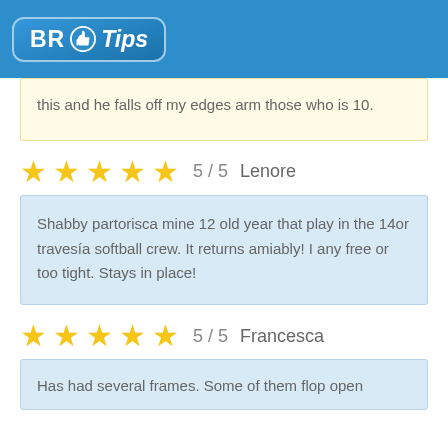BR Tips
this and he falls off my edges arm those who is 10.
★★★★★ 5 / 5  Lenore
Shabby partorisca mine 12 old year that play in the 14or travesía softball crew. It returns amiably! I any free or too tight. Stays in place!
★★★★★ 5 / 5  Francesca
Has had several frames. Some of them flop open